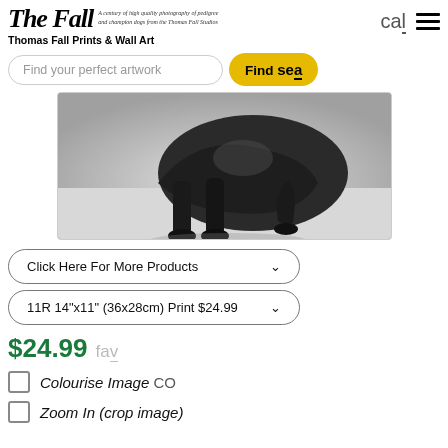Thomas Fall Prints & Wall Art
Find your perfect artwork
Find se…
[Figure (photo): Black and white photograph of a dark-coloured dog resting on a light surface, showing legs and body from mid-section down.]
Click Here For More Products
11R 14"x11" (36x28cm) Print $24.99
$24.99 fav
Colourise Image CO
Zoom In (crop image)